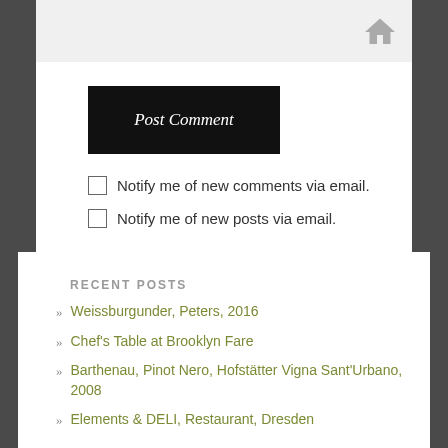[Figure (screenshot): Gray input/text area with a home icon in the top right corner]
Post Comment
Notify me of new comments via email.
Notify me of new posts via email.
RECENT POSTS
Weissburgunder, Peters, 2016
Chef's Table at Brooklyn Fare
Barthenau, Pinot Nero, Hofstätter Vigna Sant'Urbano, 2008
Elements & DELI, Restaurant, Dresden